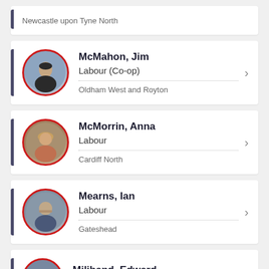Newcastle upon Tyne North
McMahon, Jim — Labour (Co-op) — Oldham West and Royton
McMorrin, Anna — Labour — Cardiff North
Mearns, Ian — Labour — Gateshead
Miliband, Edward — Labour